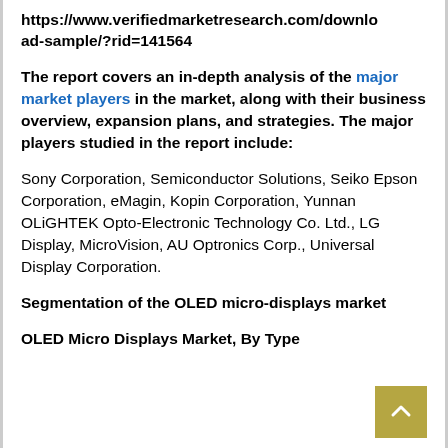https://www.verifiedmarketresearch.com/download-sample/?rid=141564
The report covers an in-depth analysis of the major market players in the market, along with their business overview, expansion plans, and strategies. The major players studied in the report include:
Sony Corporation, Semiconductor Solutions, Seiko Epson Corporation, eMagin, Kopin Corporation, Yunnan OLiGHTEK Opto-Electronic Technology Co. Ltd., LG Display, MicroVision, AU Optronics Corp., Universal Display Corporation.
Segmentation of the OLED micro-displays market
OLED Micro Displays Market, By Type